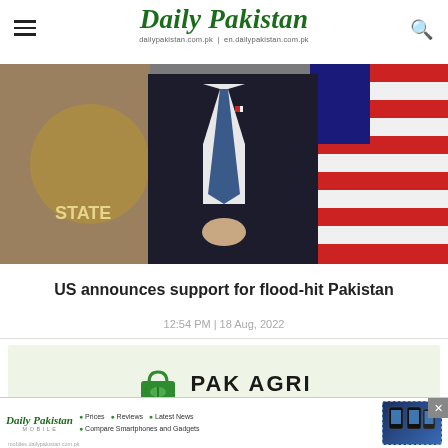Daily Pakistan — dailypakistan.com.pk | en.dailypakistan.com.pk
[Figure (photo): Photo of a person in a dark suit with tie standing at a podium, US State Department seal and American flag visible in background]
US announces support for flood-hit Pakistan
12:54 PM | 18 Aug, 2022
[Figure (infographic): PAK AGRI Market advertisement banner with green shopping bag logo on light green background]
[Figure (infographic): Daily Pakistan Mobile advertisement bar at bottom with logo, bullet points for Prices, Reviews, Latest News, Compare Smartphones and Gadgets, and phone image]